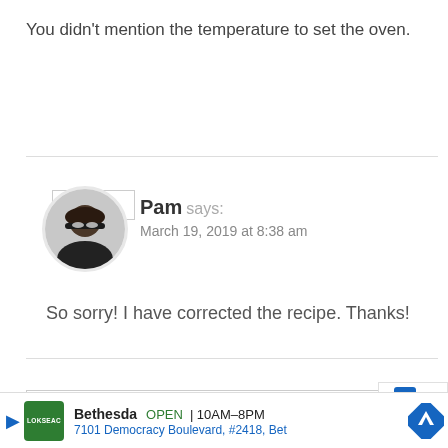You didn't mention the temperature to set the oven.
Reply
Pam says:
March 19, 2019 at 8:38 am
So sorry! I have corrected the recipe. Thanks!
[Figure (infographic): Advertisement bar at bottom: Lokseac logo, Bethesda OPEN 10AM-8PM, 7101 Democracy Boulevard, #2418, Bet, with navigation arrow icon and close X button]